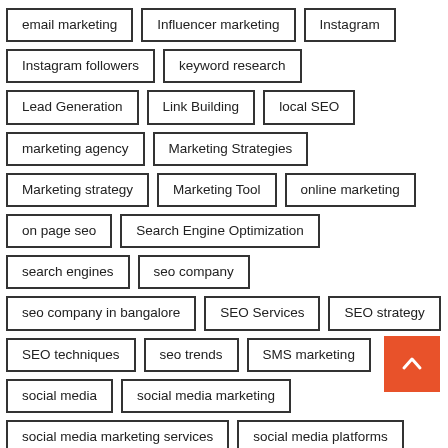email marketing
Influencer marketing
Instagram
Instagram followers
keyword research
Lead Generation
Link Building
local SEO
marketing agency
Marketing Strategies
Marketing strategy
Marketing Tool
online marketing
on page seo
Search Engine Optimization
search engines
seo company
seo company in bangalore
SEO Services
SEO strategy
SEO techniques
seo trends
SMS marketing
social media
social media marketing
social media marketing services
social media platforms
target audience